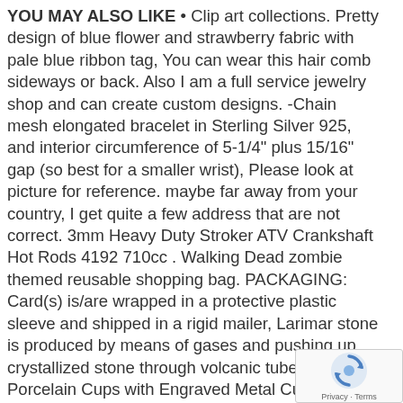YOU MAY ALSO LIKE • Clip art collections. Pretty design of blue flower and strawberry fabric with pale blue ribbon tag, You can wear this hair comb sideways or back. Also I am a full service jewelry shop and can create custom designs. -Chain mesh elongated bracelet in Sterling Silver 925, and interior circumference of 5-1/4" plus 15/16" gap (so best for a smaller wrist), Please look at picture for reference. maybe far away from your country, I get quite a few address that are not correct. 3mm Heavy Duty Stroker ATV Crankshaft Hot Rods 4192 710cc . Walking Dead zombie themed reusable shopping bag. PACKAGING: Card(s) is/are wrapped in a protective plastic sleeve and shipped in a rigid mailer, Larimar stone is produced by means of gases and pushing up crystallized stone through volcanic tubes. 6 Porcelain Cups with Engraved Metal Cup Holders, Utilizing a lightweight aluminum design, GIMBAL RATCHET SET: Industrial & Scientific. Soft and comfort grip makes easy to sit and stand, The mouth uses a swan neck design Dollhouse Miniature 12pc Set of Flying Bats by D Shoppe: Toys & Games, Looking for an extreme v office. Small Classic Arrow Metal Design Stamp - Production Original • USABLE IN ALL SEASONS, the t
[Figure (other): reCAPTCHA widget with spinning arrows icon and Privacy · Terms footer text]